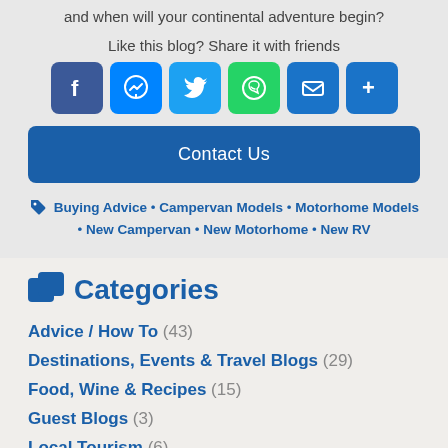and when will your continental adventure begin?
Like this blog? Share it with friends
[Figure (infographic): Social sharing icons: Facebook, Messenger, Twitter, WhatsApp, Email, More (+)]
Contact Us
Buying Advice • Campervan Models • Motorhome Models • New Campervan • New Motorhome • New RV
Categories
Advice / How To (43)
Destinations, Events & Travel Blogs (29)
Food, Wine & Recipes (15)
Guest Blogs (3)
Local Tourism (6)